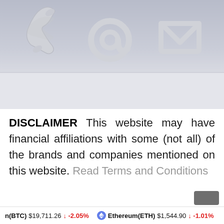[Figure (photo): Photo of three white 3D contact icons on a reflective surface: a telephone handset, an at-sign (@), and an envelope/mail icon, against a gray background.]
DISCLAIMER This website may have financial affiliations with some (not all) of the brands and companies mentioned on this website. Read Terms and Conditions
n(BTC) $19,711.26 ↓ -2.05%   Ethereum(ETH) $1,544.90 ↓ -1.01%